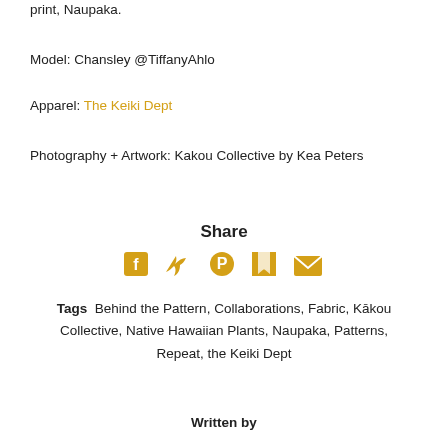print, Naupaka.
Model: Chansley @TiffanyAhlo
Apparel: The Keiki Dept
Photography + Artwork: Kakou Collective by Kea Peters
Share
[Figure (infographic): Row of five social media share icons in gold: Facebook, Twitter, Pinterest, a square icon, and Email envelope]
Tags  Behind the Pattern, Collaborations, Fabric, Kākou Collective, Native Hawaiian Plants, Naupaka, Patterns, Repeat, the Keiki Dept
Written by